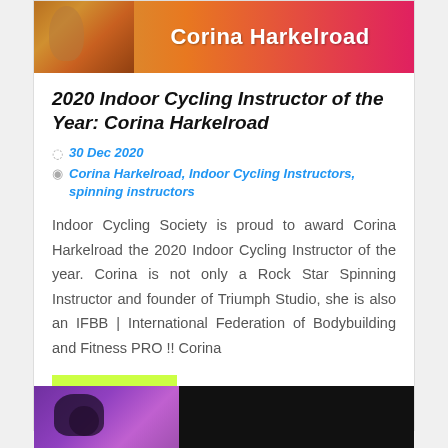[Figure (photo): Banner image with photo of Corina Harkelroad on colorful gradient background with name text]
2020 Indoor Cycling Instructor of the Year: Corina Harkelroad
30 Dec 2020
Corina Harkelroad, Indoor Cycling Instructors, spinning instructors
Indoor Cycling Society is proud to award Corina Harkelroad the 2020 Indoor Cycling Instructor of the year. Corina is not only a Rock Star Spinning Instructor and founder of Triumph Studio, she is also an IFBB | International Federation of Bodybuilding and Fitness PRO !!  Corina
Read More
[Figure (photo): Bottom banner with purple background showing a figure/logo on dark background]